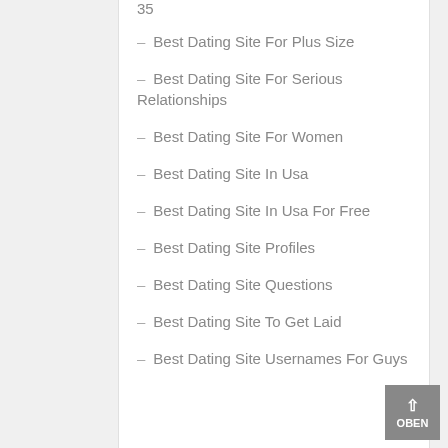– Best Dating Site For Plus Size
– Best Dating Site For Serious Relationships
– Best Dating Site For Women
– Best Dating Site In Usa
– Best Dating Site In Usa For Free
– Best Dating Site Profiles
– Best Dating Site Questions
– Best Dating Site To Get Laid
– Best Dating Site Usernames For Guys